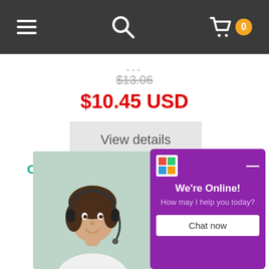Navigation bar with hamburger menu, search icon, and cart (0 items)
...
$13.06
$10.45 USD
View details
OLEODERM (SWEET ALMOND OIL / calcium hydroxide) 100ml *THIS
[Figure (photo): Customer service representative wearing headset, smiling]
[Figure (screenshot): Live chat widget showing 'We're Online! How may I help you today?' with Chat now button on purple background]